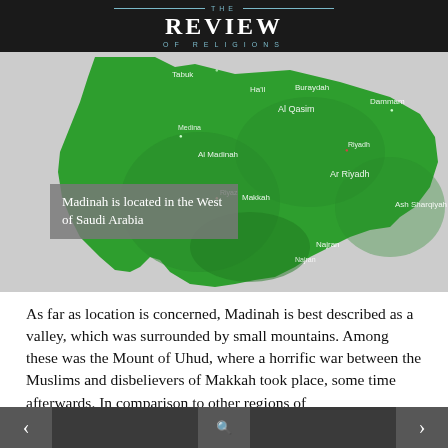THE REVIEW OF RELIGIONS
[Figure (map): Green-colored map of Saudi Arabia showing regional divisions and city labels including Tabuk, Ha'il, Buraydah, Al Qasim, Dammam, Medina, Al Madinah, Riyadh, Ar Riyadh, Makkah, Riyaz, Ash Sharqiyah, Najran, with a grey overlay box reading 'Madinah is located in the West of Saudi Arabia']
Madinah is located in the West of Saudi Arabia
As far as location is concerned, Madinah is best described as a valley, which was surrounded by small mountains. Among these was the Mount of Uhud, where a horrific war between the Muslims and disbelievers of Makkah took place, some time afterwards. In comparison to other regions of